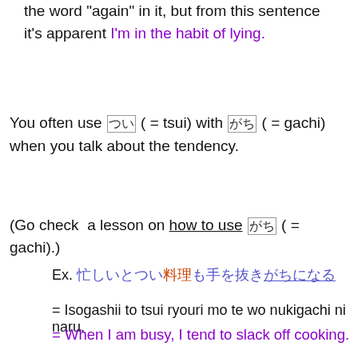the word “again” in it, but from this sentence it’s apparent I’m in the habit of lying.
You often use □□ ( = tsui) with □□ ( = gachi)  when you talk about the tendency.
(Go check  a lesson on how to use □□ ( = gachi).)
Ex. [Japanese text] = Isogashii to tsui ryouri mo te wo nukigachi ni naru. = When I am busy, I tend to slack off cooking.
Ex. [Japanese text] = Barentain wa tsui takai choko wo kai gachi da = We tend to buy expensive chocolates for St.Valentine’s